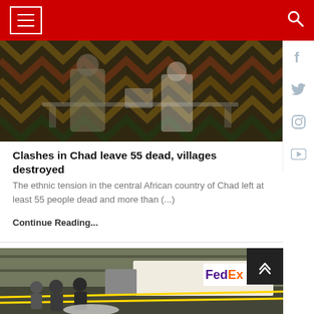News website header navigation with hamburger menu and search icon on red background
[Figure (photo): People inside a voting or community hall with decorative chevron-patterned walls; a soldier or security officer in camouflage walks past a table with a ballot box; other people stand in background]
Clashes in Chad leave 55 dead, villages destroyed
The ethnic tension in the central African country of Chad left at least 55 people dead and more than (...)
Continue Reading...
[Figure (photo): Crime scene photo showing investigators/officials near yellow police tape with a FedEx truck visible in the background; people in suits standing near what appears to be a covered body on the ground]